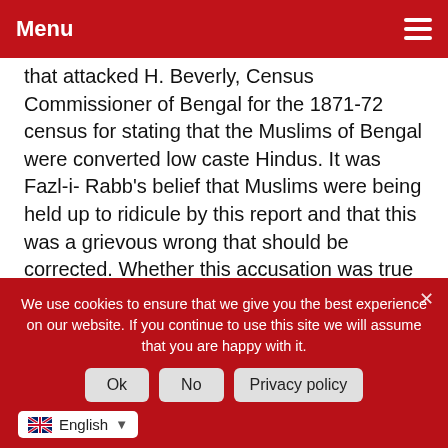Menu
that attacked H. Beverly, Census Commissioner of Bengal for the 1871-72 census for stating that the Muslims of Bengal were converted low caste Hindus. It was Fazl-i- Rabb's belief that Muslims were being held up to ridicule by this report and that this was a grievous wrong that should be corrected. Whether this accusation was true or false is irrelevant for the present purposes. What is important is the fact that more than twenty years after the 1871-72 census, the documents associated with that census were still having an effect on people within India. Group identity was
We use cookies to ensure that we give you the best experience on our website. If you continue to use this site we will assume that you are happy with it.
Ok
No
Privacy policy
English